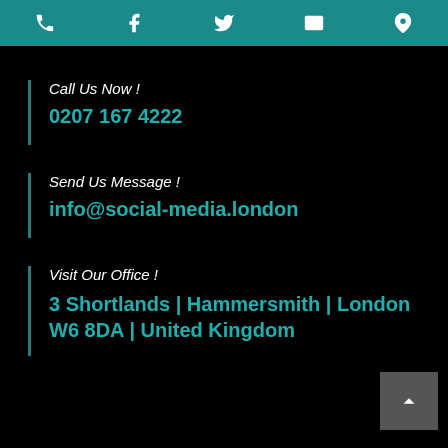[Figure (other): Top navigation bar with teal background showing icons: phone, Facebook, Twitter, email, location pin]
Call Us Now !
0207 167 4222
Send Us Message !
info@social-media.london
Visit Our Office !
3 Shortlands | Hammersmith | London W6 8DA | United Kingdom